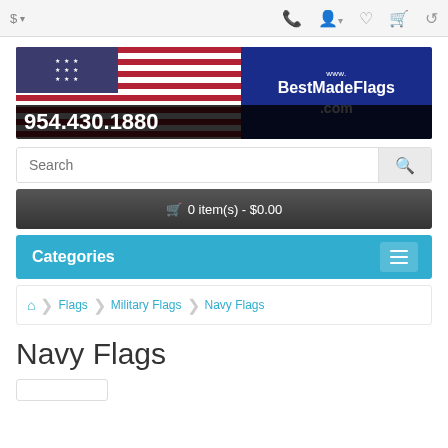$ ▾  [phone] [user] [heart] [cart] [share]
[Figure (logo): BestMadeFlags.com banner with American flag on left, blue background with www.BestMadeFlags.com text, and phone number 954.430.1880 at bottom]
Search
🛒 0 item(s) - $0.00
Categories
🏠 › Flags › Military Flags › Navy Flags
Navy Flags